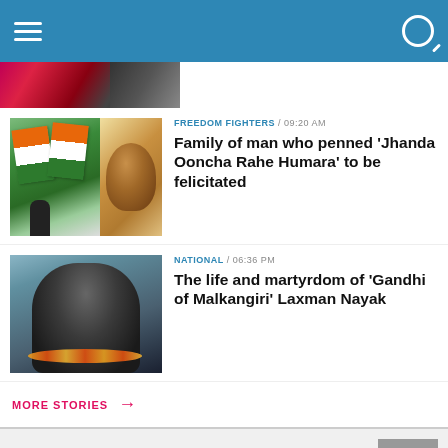Navigation bar with hamburger menu and search icon
[Figure (photo): Partial top strip showing a cropped photo of people]
FREEDOM FIGHTERS / 09:20 AM
Family of man who penned 'Jhanda Ooncha Rahe Humara' to be felicitated
[Figure (photo): Indian flags being waved and a sketch portrait of an elderly man]
NATIONAL / 06:36 PM
The life and martyrdom of 'Gandhi of Malkangiri' Laxman Nayak
[Figure (photo): A dark stone statue bust of Laxman Nayak with orange flower garland]
MORE STORIES →
EDITOR'S PICK